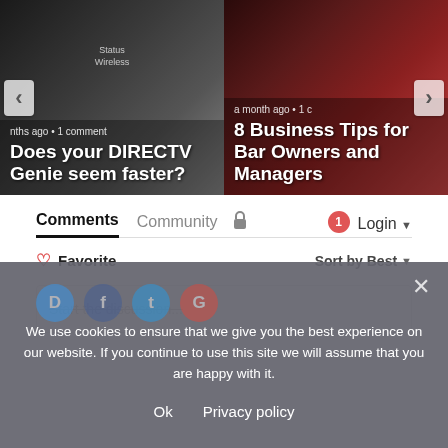[Figure (screenshot): Carousel card showing DIRECTV Genie device image with text overlay: 'nths ago • 1 comment' and title 'Does your DIRECTV Genie seem faster?']
[Figure (screenshot): Carousel card showing bar scene image with text overlay: 'a month ago • 1 c' and title '8 Business Tips for Bar Owners and Managers']
Comments   Community   🔒   1   Login ▾
♡ Favorite   Sort by Best ▾
Start the discussion...
We use cookies to ensure that we give you the best experience on our website. If you continue to use this site we will assume that you are happy with it.
Ok   Privacy policy